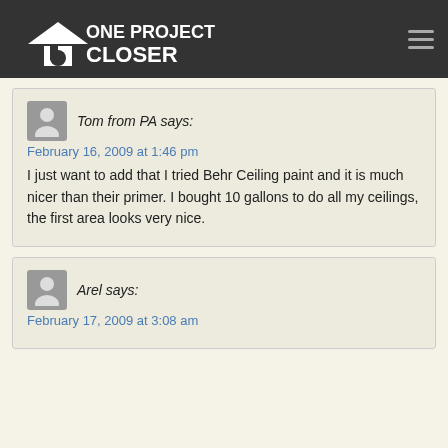One Project Closer
Tom from PA says:
February 16, 2009 at 1:46 pm

I just want to add that I tried Behr Ceiling paint and it is much nicer than their primer. I bought 10 gallons to do all my ceilings, the first area looks very nice.
Arel says:
February 17, 2009 at 3:08 am